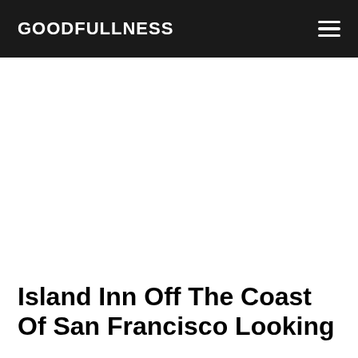GOODFULLNESS
Island Inn Off The Coast Of San Francisco Looking